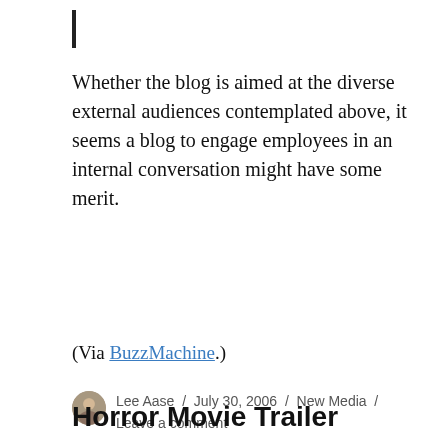Whether the blog is aimed at the diverse external audiences contemplated above, it seems a blog to engage employees in an internal conversation might have some merit.
(Via BuzzMachine.)
Lee Aase / July 30, 2006 / New Media / Leave a comment
Horror Movie Trailer